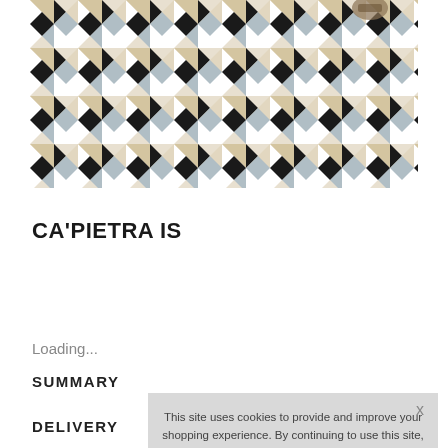[Figure (photo): Geometric patterned tiles in black, white, beige, and blue-grey arranged in a star/diamond mosaic pattern, partially cut off at top]
CA'PIETRA IS
Loading...
SUMMARY
DELIVERY
This site uses cookies to provide and improve your shopping experience. By continuing to use this site, you agree to accept these cookies.
For more information, please see our Cookies Page Cookies Page.
I opt-in to a better browsing experience
ACCEPT COOKIES